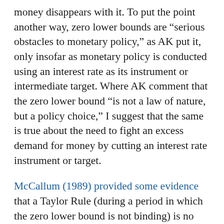money disappears with it. To put the point another way, zero lower bounds are “serious obstacles to monetary policy,” as AK put it, only insofar as monetary policy is conducted using an interest rate as its instrument or intermediate target. Where AK comment that the zero lower bound “is not a law of nature, but a policy choice,” I suggest that the same is true about the need to fight an excess demand for money by cutting an interest rate instrument or target.
McCallum (1989) provided some evidence that a Taylor Rule (during a period in which the zero lower bound is not binding) is no more effective at mitigating recession than a McCallum Rule. If this finding is persuasive empirically (an update would be welcome) or theoretically, then it is hard to justify imposing the burden of negative interest rates on depositors and the